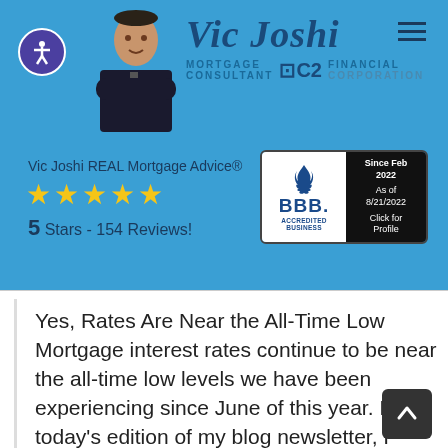[Figure (logo): Vic Joshi Mortgage Consultant C2 Financial logo with person photo]
Vic Joshi REAL Mortgage Advice®
★★★★★
5 Stars - 154 Reviews!
[Figure (logo): BBB Accredited Business badge. Since Feb 2022. As of 8/21/2022. Click for Profile.]
Yes, Rates Are Near the All-Time Low Mortgage interest rates continue to be near the all-time low levels we have been experiencing since June of this year. In today's edition of my blog newsletter, I